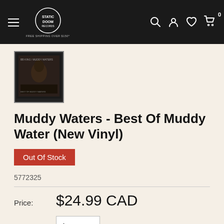FREE SHIPPING OVER $150
[Figure (screenshot): Album thumbnail: dark cover image of Muddy Waters - Best Of Muddy Waters, small square thumbnail with border]
Muddy Waters - Best Of Muddy Water (New Vinyl)
Out Of Stock
5772325
Price: $24.99 CAD
Quantity: 1